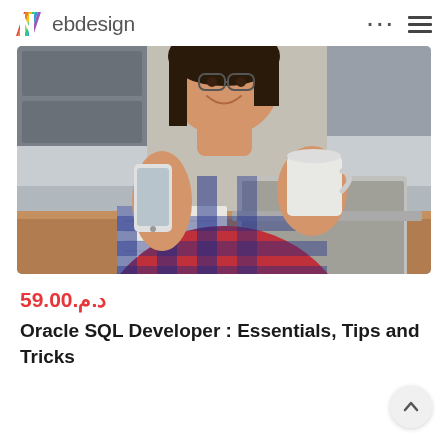Webdesign
[Figure (photo): Woman sitting at a wooden desk, smiling, holding a phone in one hand and a white mug in the other, with an open laptop in front of her. She wears a red and blue plaid shirt and glasses. Background shows a blurred kitchen/home office setting.]
د.م.59.00
Oracle SQL Developer : Essentials, Tips and Tricks